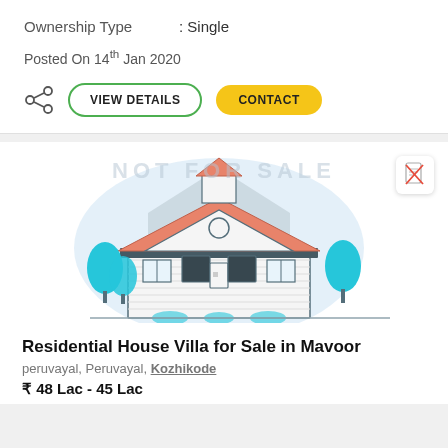Ownership Type : Single
Posted On 14th Jan 2020
VIEW DETAILS   CONTACT
[Figure (illustration): Illustration of a residential house/villa with orange roof, white walls, trees on either side, grey background circle. Watermark text 'NOT FOR SALE' visible. Document icon in top right corner.]
Residential House Villa for Sale in Mavoor
peruvayal, Peruvayal, Kozhikode
₹ 48 Lac - 45 Lac